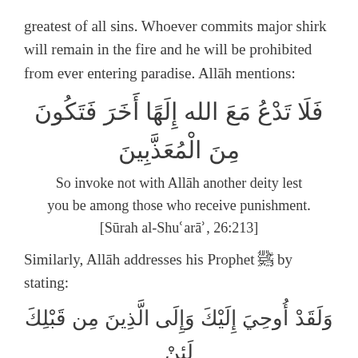greatest of all sins. Whoever commits major shirk will remain in the fire and he will be prohibited from ever entering paradise. Allāh mentions:
فَلَا تَدْعُ مَعَ الله إِلَهًا أَخَرَ فَتَكُونَ مِنَ الْمُعَذَّبِينَ
So invoke not with Allāh another deity lest you be among those who receive punishment. [Sūrah al-Shuʿarāʾ, 26:213]
Similarly, Allāh addresses his Prophet ﷺ by stating:
وَلَقَدْ أُوحِيَ إِلَيْكَ وَإِلَى الَّذِينَ مِن قَبْلِكَ لَئِنْ أَشْرَكْتَ لَيَحْبَطَنَّ عَمَلُكَ وَلَتَكُونَنَّ مِنَ الْ...